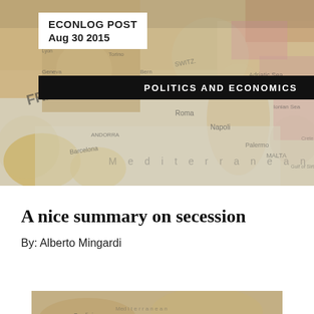[Figure (map): Blurred/bokeh photograph of a physical map of Europe and Mediterranean, showing country names including France, Italy, Monaco, Malta, and geographic features like Adriatic Sea, Ionian Sea, Mediterranean Sea.]
ECONLOG POST
Aug 30 2015
POLITICS AND ECONOMICS
A nice summary on secession
By: Alberto Mingardi
[Figure (photo): Partially visible blurred photograph at the bottom of the page, similar map/geographic image cropped.]